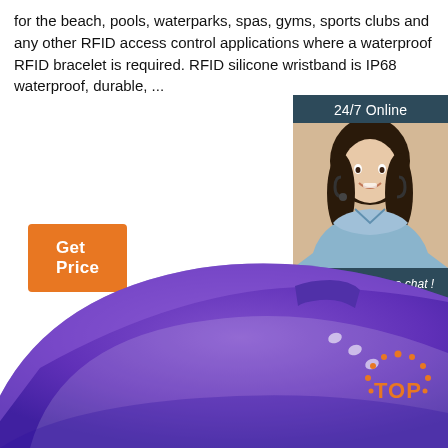for the beach, pools, waterparks, spas, gyms, sports clubs and any other RFID access control applications where a waterproof RFID bracelet is required. RFID silicone wristband is IP68 waterproof, durable, ...
[Figure (other): Orange 'Get Price' button]
[Figure (photo): Chat widget showing '24/7 Online' header, photo of smiling woman with headset, 'Click here for free chat!' text, and orange QUOTATION button]
[Figure (photo): Purple RFID silicone wristband/bracelet shown close-up from below]
[Figure (logo): TOP badge/watermark in orange dots and text at bottom right]